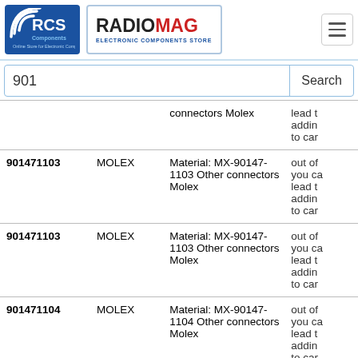RCS Components | RADIOMAG Electronic Components Store
901
| Part # | Brand | Description | Status |
| --- | --- | --- | --- |
|  | connectors Molex | lead t addin to car |  |
| 901471103 | MOLEX | Material: MX-90147-1103 Other connectors Molex | out of you ca lead t addin to car |
| 901471103 | MOLEX | Material: MX-90147-1103 Other connectors Molex | out of you ca lead t addin to car |
| 901471104 | MOLEX | Material: MX-90147-1104 Other connectors Molex | out of you ca lead t addin to car |
| 901471104 | MOLEX | Material: MX-90147-1104 Other connectors Molex | out of you ca lead t addin |